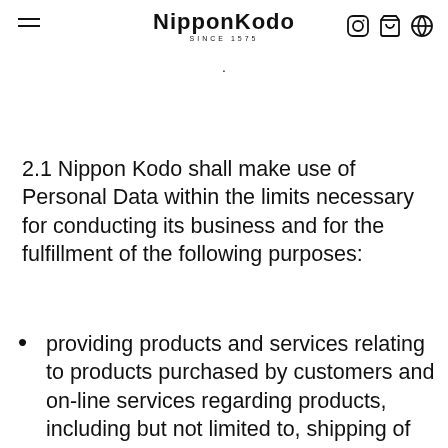Nippon Kodo SINCE 1575
2.1 Nippon Kodo shall make use of Personal Data within the limits necessary for conducting its business and for the fulfillment of the following purposes:
providing products and services relating to products purchased by customers and on-line services regarding products, including but not limited to, shipping of products and communication regarding ordered products;